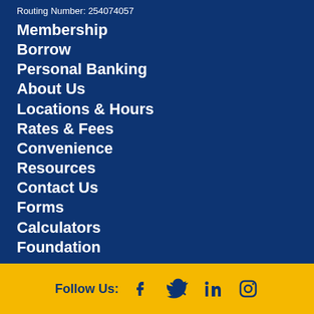Routing Number: 254074057
Membership
Borrow
Personal Banking
About Us
Locations & Hours
Rates & Fees
Convenience
Resources
Contact Us
Forms
Calculators
Foundation
Follow Us: